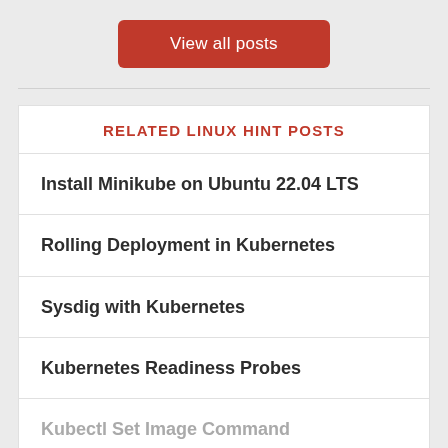View all posts
RELATED LINUX HINT POSTS
Install Minikube on Ubuntu 22.04 LTS
Rolling Deployment in Kubernetes
Sysdig with Kubernetes
Kubernetes Readiness Probes
Kubectl Set Image Command